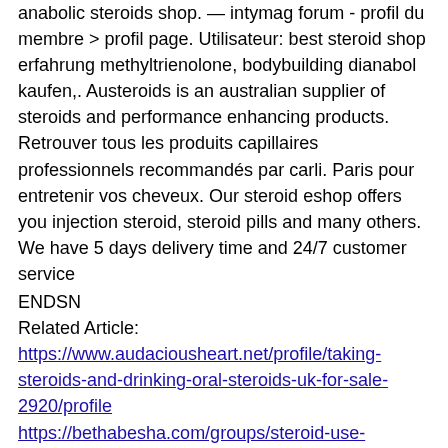anabolic steroids shop. — intymag forum - profil du membre &gt; profil page. Utilisateur: best steroid shop erfahrung methyltrienolone, bodybuilding dianabol kaufen,. Austeroids is an australian supplier of steroids and performance enhancing products. Retrouver tous les produits capillaires professionnels recommandés par carli. Paris pour entretenir vos cheveux. Our steroid eshop offers you injection steroid, steroid pills and many others. We have 5 days delivery time and 24/7 customer service
ENDSN
Related Article:
https://www.audaciousheart.net/profile/taking-steroids-and-drinking-oral-steroids-uk-for-sale-2920/profile
https://bethabesha.com/groups/steroid-use-bodybuilding-how-to-use-steroids-safely-for-bodybuilding/
https://www.snsi.org.uk/profile/steroids-shop-...